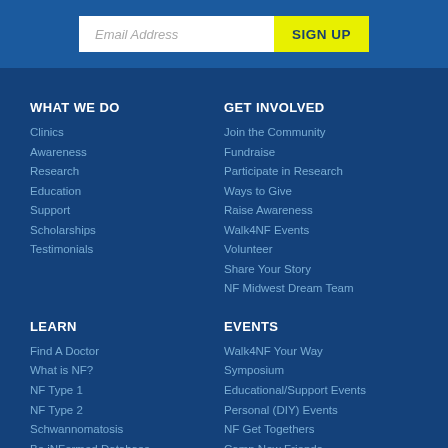Email Address
SIGN UP
WHAT WE DO
Clinics
Awareness
Research
Education
Support
Scholarships
Testimonials
GET INVOLVED
Join the Community
Fundraise
Participate in Research
Ways to Give
Raise Awareness
Walk4NF Events
Volunteer
Share Your Story
NF Midwest Dream Team
LEARN
Find A Doctor
What is NF?
NF Type 1
NF Type 2
Schwannomatosis
Be iNFormed Database
EVENTS
Walk4NF Your Way
Symposium
Educational/Support Events
Personal (DIY) Events
NF Get Togethers
Camp New Friends